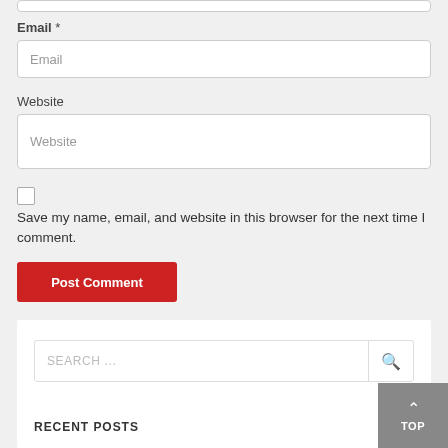[Figure (screenshot): Partial top border of a previous input field]
Email *
[Figure (screenshot): Email input field with placeholder text 'Email']
Website
[Figure (screenshot): Website input field with placeholder text 'Website']
[Figure (screenshot): Unchecked checkbox]
Save my name, email, and website in this browser for the next time I comment.
[Figure (screenshot): Red 'Post Comment' submit button]
[Figure (screenshot): Search bar with 'SEARCH ...' placeholder and magnifier icon]
RECENT POSTS
[Figure (screenshot): Gray 'TOP' button with upward arrow in bottom-right corner]